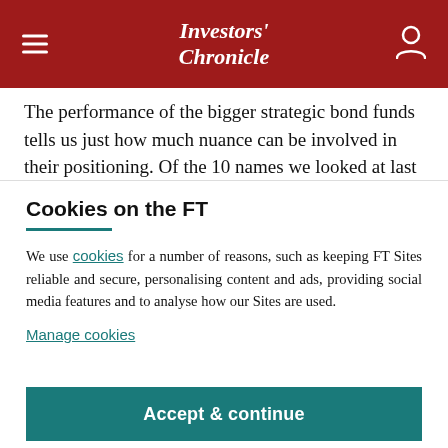Investors' Chronicle
The performance of the bigger strategic bond funds tells us just how much nuance can be involved in their positioning. Of the 10 names we looked at last year, the top-performing fund was Baillie Gifford...
Cookies on the FT
We use cookies for a number of reasons, such as keeping FT Sites reliable and secure, personalising content and ads, providing social media features and to analyse how our Sites are used.
Manage cookies
Accept & continue